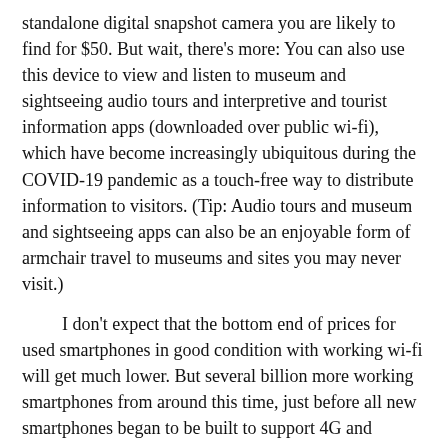standalone digital snapshot camera you are likely to find for $50. But wait, there's more: You can also use this device to view and listen to museum and sightseeing audio tours and interpretive and tourist information apps (downloaded over public wi-fi), which have become increasingly ubiquitous during the COVID-19 pandemic as a touch-free way to distribute information to visitors. (Tip: Audio tours and museum and sightseeing apps can also be an enjoyable form of armchair travel to museums and sites you may never visit.)
I don't expect that the bottom end of prices for used smartphones in good condition with working wi-fi will get much lower. But several billion more working smartphones from around this time, just before all new smartphones began to be built to support 4G and VoLTE, will be rendered "obsolete" by the 2G and 3G sunset. As these billions of devices, including some that were considered "flagship" smartphones as recently as 2013-2016, are dumped into secondary used-phone markets, what you can get for US$50-100 is likely to improve greatly.